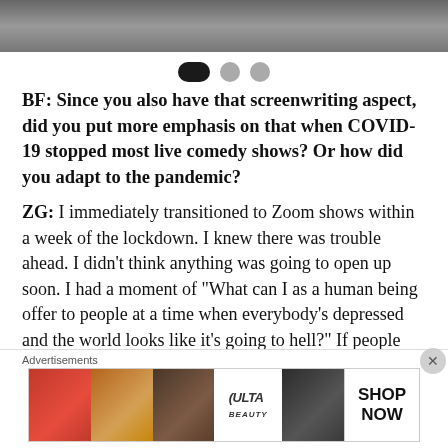[Figure (photo): Top photo strip showing people, partially cropped]
BF: Since you also have that screenwriting aspect, did you put more emphasis on that when COVID-19 stopped most live comedy shows? Or how did you adapt to the pandemic?
ZG: I immediately transitioned to Zoom shows within a week of the lockdown. I knew there was trouble ahead. I didn't think anything was going to open up soon. I had a moment of "What can I as a human being offer to people at a time when everybody's depressed and the world looks like it's going to hell?" If people are enjoying my comedy
Advertisements
[Figure (photo): Ulta Beauty advertisement banner with makeup images and SHOP NOW text]